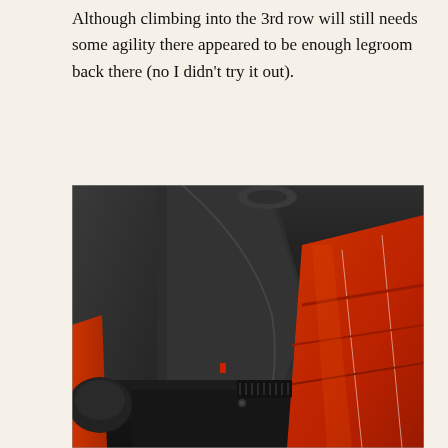Although climbing into the 3rd row will still needs some agility there appeared to be enough legroom back there (no I didn't try it out).
[Figure (photo): Interior photo of a vehicle showing red leather seats and black interior panels, focusing on the third row access area with the floor, seat base, and side panels visible.]